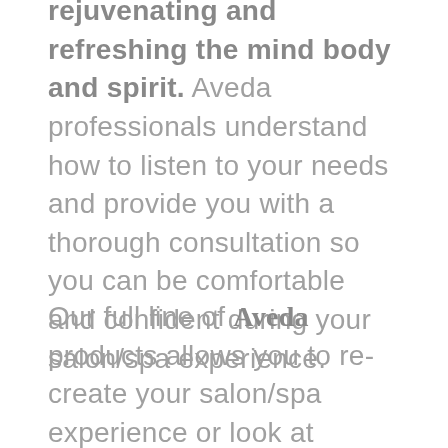rejuvenating and refreshing the mind body and spirit. Aveda professionals understand how to listen to your needs and provide you with a thorough consultation so you can be comfortable and confident during your salon/spa experience.
Our full line of Aveda products allows you to re-create your salon/spa experience or look at home. Made with organic and natural pure flower and plant ingredients, our products are proven to have powerful results,